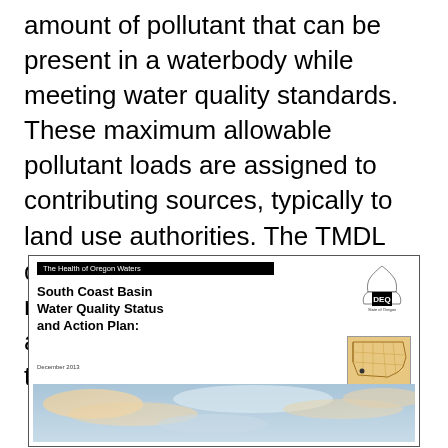amount of pollutant that can be present in a waterbody while meeting water quality standards. These maximum allowable pollutant loads are assigned to contributing sources, typically to land use authorities. The TMDL document includes a water quality management plan with strategies and approaches for implementing the TMDLs.
[Figure (illustration): Cover page of the 'South Coast Basin Water Quality Status and Action Plan' document published by Oregon DEQ (Department of Environmental Quality), December 2013. Shows the DEQ logo, an Oregon map thumbnail highlighting the south coast basin, and a photograph of clouds/sky.]